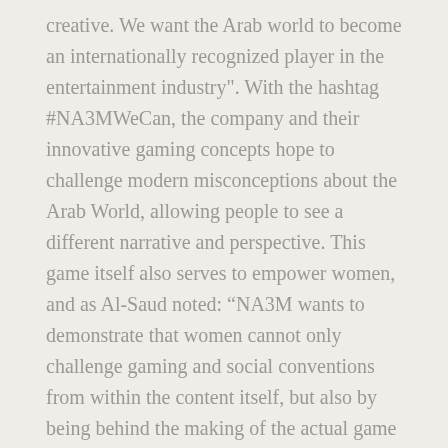creative. We want the Arab world to become an internationally recognized player in the entertainment industry". With the hashtag #NA3MWeCan, the company and their innovative gaming concepts hope to challenge modern misconceptions about the Arab World, allowing people to see a different narrative and perspective. This game itself also serves to empower women, and as Al-Saud noted: “NA3M wants to demonstrate that women cannot only challenge gaming and social conventions from within the content itself, but also by being behind the making of the actual game itself”.
For more information: Visit NA3M Games official website and learn more about their background and some of their games, and follow them on Facebook and Twitter @NA3MGames.